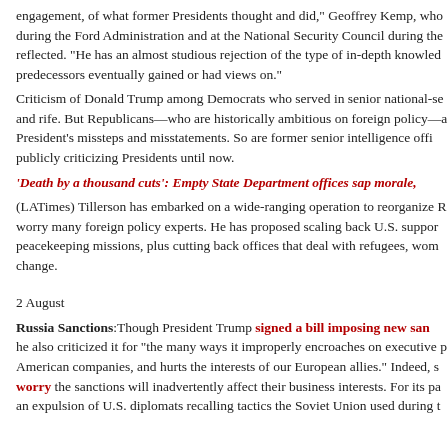engagement, of what former Presidents thought and did," Geoffrey Kemp, who served during the Ford Administration and at the National Security Council during the Reagan era reflected. "He has an almost studious rejection of the type of in-depth knowledge his predecessors eventually gained or had views on."
Criticism of Donald Trump among Democrats who served in senior national-security positions and rife. But Republicans—who are historically ambitious on foreign policy—are noting the President's missteps and misstatements. So are former senior intelligence officials, cautious about publicly criticizing Presidents until now.
'Death by a thousand cuts': Empty State Department offices sap morale,
(LATimes) Tillerson has embarked on a wide-ranging operation to reorganize R... worry many foreign policy experts. He has proposed scaling back U.S. support for peacekeeping missions, plus cutting back offices that deal with refugees, wom... change.
2 August
Russia Sanctions:Though President Trump signed a bill imposing new sanctions on Russia, he also criticized it for "the many ways it improperly encroaches on executive p... American companies, and hurts the interests of our European allies." Indeed, s... worry the sanctions will inadvertently affect their business interests. For its pa... an expulsion of U.S. diplomats recalling tactics the Soviet Union used during t...